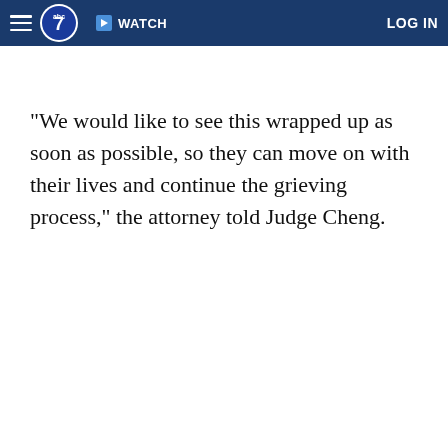ABC7 — WATCH — LOG IN
"We would like to see this wrapped up as soon as possible, so they can move on with their lives and continue the grieving process," the attorney told Judge Cheng.